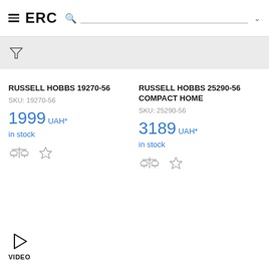ERC
RUSSELL HOBBS 19270-56
SKU: 19270-56
1999 UAH*
in stock
RUSSELL HOBBS 25290-56 COMPACT HOME
SKU: 25290-56
3189 UAH*
in stock
VIDEO